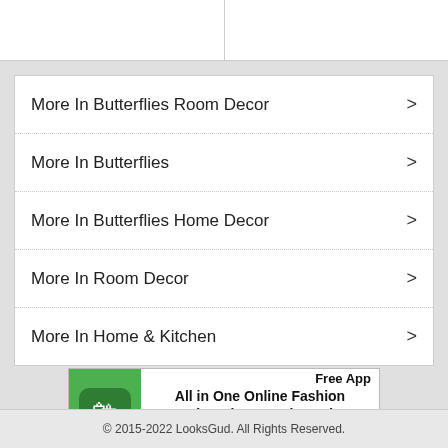More In Butterflies Room Decor >
More In Butterflies >
More In Butterflies Home Decor >
More In Room Decor >
More In Home & Kitchen >
[Figure (infographic): Advertisement banner for LooksGud app: All in One Online Fashion Shopping - LooksGud, with Free App and Install button]
© 2015-2022 LooksGud. All Rights Reserved.